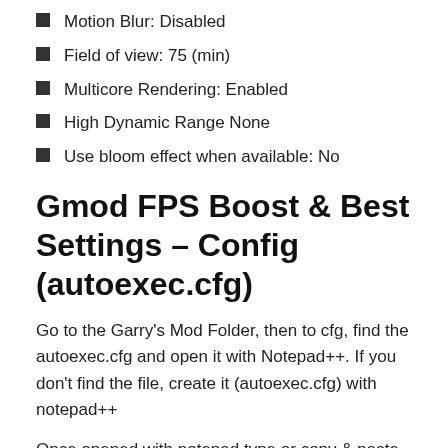Motion Blur: Disabled
Field of view: 75 (min)
Multicore Rendering: Enabled
High Dynamic Range None
Use bloom effect when available: No
Gmod FPS Boost & Best Settings – Config (autoexec.cfg)
Go to the Garry's Mod Folder, then to cfg, find the autoexec.cfg and open it with Notepad++. If you don't find the file, create it (autoexec.cfg) with notepad++
Once opened with notepad type or copy & paste the following commands: